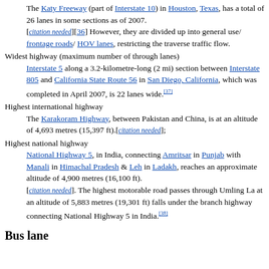The Katy Freeway (part of Interstate 10) in Houston, Texas, has a total of 26 lanes in some sections as of 2007. [citation needed][36] However, they are divided up into general use/ frontage roads/ HOV lanes, restricting the traverse traffic flow.
Widest highway (maximum number of through lanes)
Interstate 5 along a 3.2-kilometre-long (2 mi) section between Interstate 805 and California State Route 56 in San Diego, California, which was completed in April 2007, is 22 lanes wide.[37]
Highest international highway
The Karakoram Highway, between Pakistan and China, is at an altitude of 4,693 metres (15,397 ft).[citation needed];
Highest national highway
National Highway 5, in India, connecting Amritsar in Punjab with Manali in Himachal Pradesh & Leh in Ladakh, reaches an approximate altitude of 4,900 metres (16,100 ft). [citation needed]. The highest motorable road passes through Umling La at an altitude of 5,883 metres (19,301 ft) falls under the branch highway connecting National Highway 5 in India.[38]
Bus lane